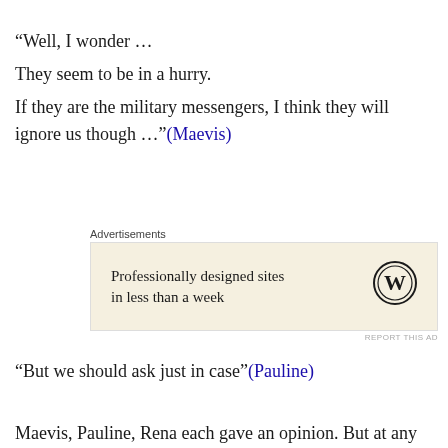“Well, I wonder …
They seem to be in a hurry.
If they are the military messengers, I think they will ignore us though …”(Maevis)
[Figure (other): Advertisement box with WordPress logo: 'Professionally designed sites in less than a week']
“But we should ask just in case”(Pauline)
“I doubt whether they will stop or not. Well, it can’t be helped either way. For now, we should not block the way”(Rena)
Maevis, Pauline, Rena each gave an opinion. But at any